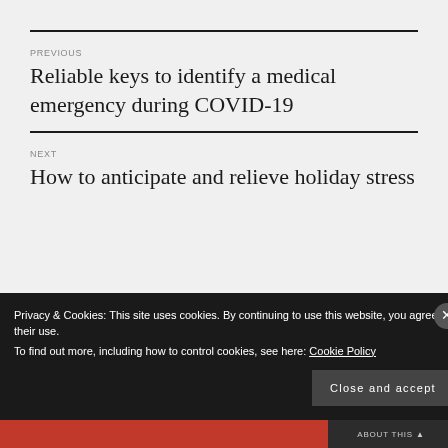PREVIOUS
Reliable keys to identify a medical emergency during COVID-19
NEXT
How to anticipate and relieve holiday stress
Privacy & Cookies: This site uses cookies. By continuing to use this website, you agree to their use. To find out more, including how to control cookies, see here: Cookie Policy
Close and accept